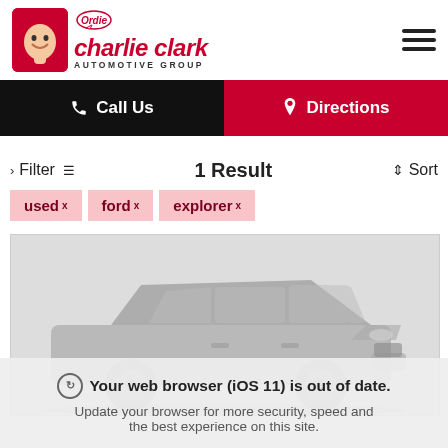[Figure (logo): Charlie Clark Automotive Group logo with face photo on left, red stylized text 'charlie clark' and 'AUTOMOTIVE GROUP' below]
[Figure (other): Hamburger menu icon (three horizontal lines)]
Call Us
Directions
Filter
1 Result
Sort
used ×
ford ×
explorer ×
[Figure (photo): Ford Explorer SUV, dark grey/graphite color, front 3/4 view, faded/low-opacity image on light grey background]
Your web browser (iOS 11) is out of date. Update your browser for more security, speed and the best experience on this site.